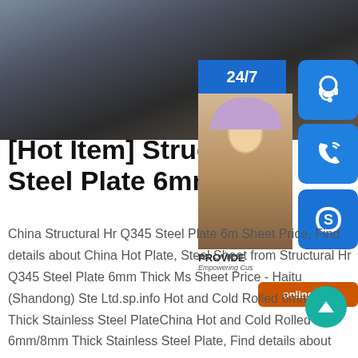[Figure (photo): Steel plate product photo — dark metallic surface close-up]
[Hot Item] Structural Steel Plate 6mm Thic
[Figure (infographic): 24/7 customer service overlay with agent photo, headset icon, phone icon, Skype icon, and online live button]
China Structural Hr Q345 Steel Plate 6m Sheet Price, Find details about China Hot Plate, Steel Sheet from Structural Hr Q345 Steel Plate 6mm Thick Ms Sheet Price - Haitu (Shandong) Ste Ltd.sp.info Hot and Cold Rolled 6mm/8mm Thick Stainless Steel PlateChina Hot and Cold Rolled 6mm/8mm Thick Stainless Steel Plate, Find details about